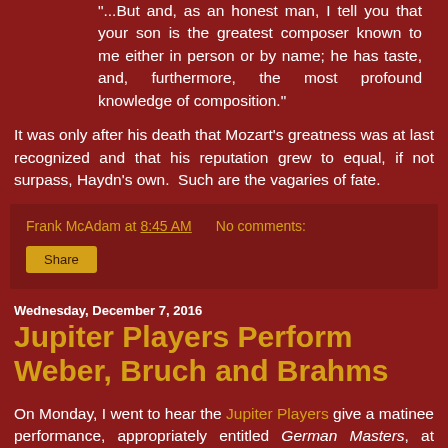"...But and, as an honest man, I tell you that your son is the greatest composer known to me either in person or by name; he has taste, and, furthermore, the most profound knowledge of composition."
It was only after his death that Mozart's greatness was at last recognized and that his reputation grew to equal, if not surpass, Haydn's own.  Such are the vagaries of fate.
Frank McAdam at 8:45 AM   No comments:
Share
Wednesday, December 7, 2016
Jupiter Players Perform Weber, Bruch and Brahms
On Monday, I went to hear the Jupiter Players give a matinee performance, appropriately entitled German Masters, at Good Shepherd Church on West 66th Street.